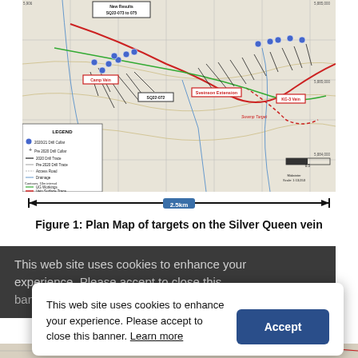[Figure (map): Plan map of drill targets on the Silver Queen vein system, showing 2020/21 and Pre-2020 drill collars, drill traces, access roads, drainage, contours, UG workings, and vein surface traces. Named targets include Camp Vein, SQ22-072, SQ22-073 to 075, Sveinson Extension, Swamp Target, and KG-3 Vein. Scale 1:13,053. Legend included.]
Figure 1: Plan Map of targets on the Silver Queen vein
This web site uses cookies to enhance your experience. Please accept to close this banner. Learn more
This web site uses cookies to enhance your experience. Please accept to close this banner. Learn more
[Figure (map): Partial view of another geological map at the bottom of the page.]